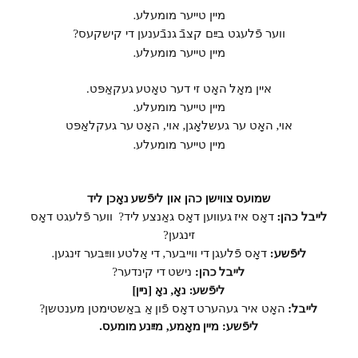מיין טייער מומעלע.
ווער פֿלעגט בײַם קצבֿ גנבֿענען די קישקעס?
מיין טייער מומעלע.
איין מאָל האָט זי דער טאָטע געקאַפּט.
מיין טייער מומעלע.
אוי, האָט ער גеשלאָגן, אוי, האָט ער געקלאַפּט
מיין טייער מומעלע.
שמועס צווישן כהן און ליפֿשע נאָכן ליד
לייבל כהן: דאָס איז געווען דאָס גאַנצע ליד?  ווער פֿלעגט דאָס זינגען?
ליפֿשע: דאָס פֿלעגן די ווייבער, די אַלטע וויַיבער זינגען.
לייבל כהן: נישט די קינדער?
ליפֿשע: נאָ, נאָ [נײן]
לייבל: האָט איר געהערט דאָס פֿון אַ באַשטימטן מענטשן?
ליפֿשע: מיין מאָמע, מײַנע מומעס.